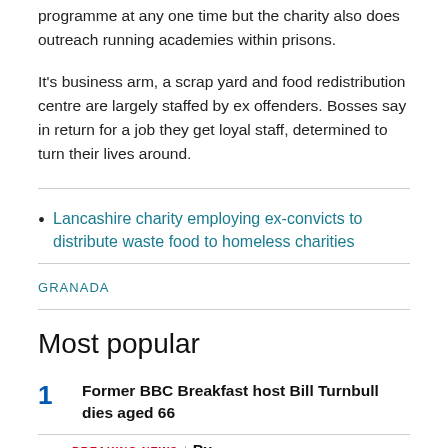programme at any one time but the charity also does outreach running academies within prisons.
It's business arm, a scrap yard and food redistribution centre are largely staffed by ex offenders. Bosses say in return for a job they get loyal staff, determined to turn their lives around.
Lancashire charity employing ex-convicts to distribute waste food to homeless charities
GRANADA
Most popular
1 Former BBC Breakfast host Bill Turnbull dies aged 66
BREAKING NEWS | Pu... (truncated)